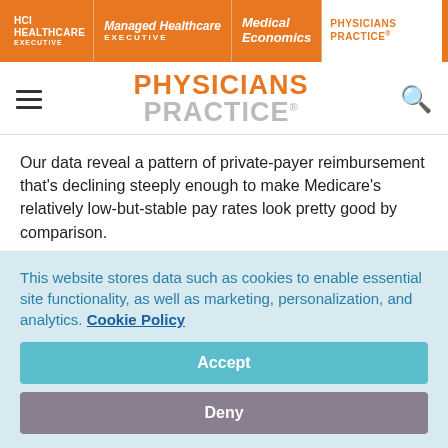HCI HEALTHCARE EXECUTIVE | Managed Healthcare EXECUTIVE | Medical Economics | PHYSICIANS PRACTICE
PHYSICIANS PRACTICE
Our data reveal a pattern of private-payer reimbursement that's declining steeply enough to make Medicare's relatively low-but-stable pay rates look pretty good by comparison.
In 2009, the federal program bumped up its rates for office visits 99213, 99214, and 99215 by 2.5 percent, 2.7 percent, and
This website stores data such as cookies to enable essential site functionality, as well as marketing, personalization, and analytics. Cookie Policy
Accept
Deny